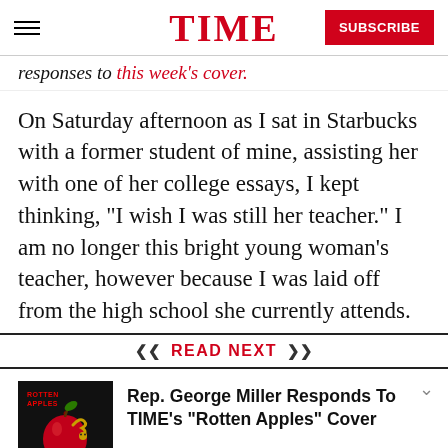TIME | SUBSCRIBE
responses to this week's cover.
On Saturday afternoon as I sat in Starbucks with a former student of mine, assisting her with one of her college essays, I kept thinking, “I wish I was still her teacher.” I am no longer this bright young woman’s teacher, however because I was laid off from the high school she currently attends.
READ NEXT
[Figure (photo): Book cover of TIME magazine 'Rotten Apples' issue showing a red apple with a worm on a dark background]
Rep. George Miller Responds To TIME's "Rotten Apples" Cover